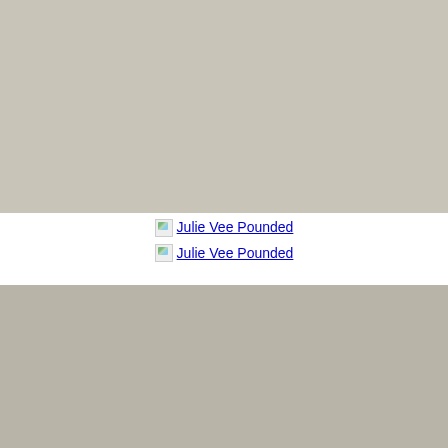[Figure (photo): Photo placeholder - top image]
Julie Vee Pounded (link x2)
[Figure (photo): Photo placeholder - bottom image]